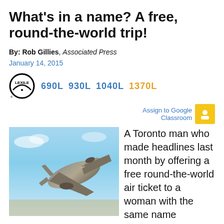What's in a name? A free, round-the-world trip!
By: Rob Gillies, Associated Press
January 14, 2015
[Figure (logo): Lexile logo with reading level indicators: 690L, 930L, 1040L, 1370L (highlighted in orange)]
[Figure (photo): Photograph of a commercial airplane in flight against a blue sky, viewed from below at an angle]
A Toronto man who made headlines last month by offering a free round-the-world air ticket to a woman with the same name as his ex-girlfriend has found Ms. Right.
Jordan Axani, 28, and his then girlfriend, named